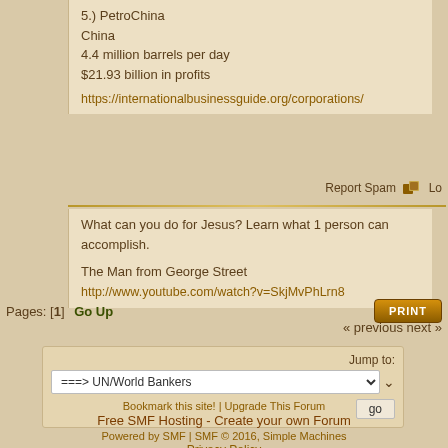5.) PetroChina
China
4.4 million barrels per day
$21.93 billion in profits
https://internationalbusinessguide.org/corporations/
Report Spam  Lo
What can you do for Jesus?  Learn what 1 person can accomplish.

The Man from George Street
http://www.youtube.com/watch?v=SkjMvPhLrn8
Pages: [1]  Go Up
PRINT
« previous next »
Jump to:
===> UN/World Bankers
go
Bookmark this site! | Upgrade This Forum
Free SMF Hosting - Create your own Forum
Powered by SMF | SMF © 2016, Simple Machines
Privacy Policy